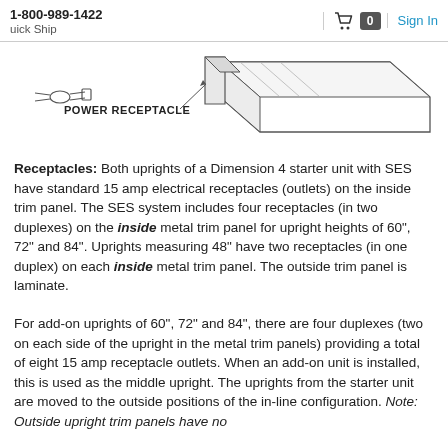1-800-989-1422  Quick Ship  [cart] 0  Sign In
[Figure (engineering-diagram): Line drawing of a power receptacle component — a cable plug on the left with a label 'POWER RECEPTACLE' pointing to an elongated rectangular rail/track component shown in isometric perspective.]
Receptacles: Both uprights of a Dimension 4 starter unit with SES have standard 15 amp electrical receptacles (outlets) on the inside trim panel. The SES system includes four receptacles (in two duplexes) on the inside metal trim panel for upright heights of 60", 72" and 84". Uprights measuring 48" have two receptacles (in one duplex) on each inside metal trim panel. The outside trim panel is laminate.
For add-on uprights of 60", 72" and 84", there are four duplexes (two on each side of the upright in the metal trim panels) providing a total of eight 15 amp receptacle outlets. When an add-on unit is installed, this is used as the middle upright. The uprights from the starter unit are moved to the outside positions of the in-line configuration. Note: Outside upright trim panels have no